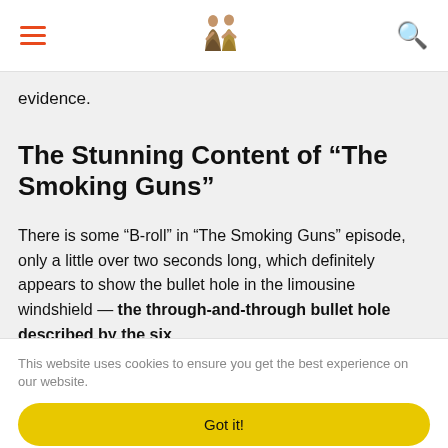[hamburger menu] [logo image] [search icon]
evidence.
The Stunning Content of “The Smoking Guns”
There is some “B-roll” in “The Smoking Guns” episode, only a little over two seconds long, which definitely appears to show the bullet hole in the limousine windshield — the through-and-through bullet hole described by the six
This website uses cookies to ensure you get the best experience on our website.
Got it!